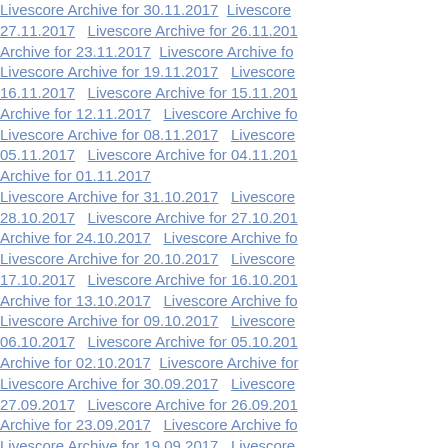Livescore Archive for 30.11.2017  Livescore 27.11.2017  Livescore Archive for 26.11.2017  Archive for 23.11.2017  Livescore Archive fo  Livescore Archive for 19.11.2017  Livescore 16.11.2017  Livescore Archive for 15.11.2017  Archive for 12.11.2017  Livescore Archive fo  Livescore Archive for 08.11.2017  Livescore 05.11.2017  Livescore Archive for 04.11.2017  Archive for 01.11.2017  Livescore Archive for 31.10.2017  Livescore 28.10.2017  Livescore Archive for 27.10.2017  Archive for 24.10.2017  Livescore Archive fo  Livescore Archive for 20.10.2017  Livescore 17.10.2017  Livescore Archive for 16.10.2017  Archive for 13.10.2017  Livescore Archive fo  Livescore Archive for 09.10.2017  Livescore 06.10.2017  Livescore Archive for 05.10.2017  Archive for 02.10.2017  Livescore Archive for  Livescore Archive for 30.09.2017  Livescore 27.09.2017  Livescore Archive for 26.09.2017  Archive for 23.09.2017  Livescore Archive fo  Livescore Archive for 19.09.2017  Livescore 16.09.2017  Livescore Archive for 15.09.2017  Archive for 12.09.2017  Livescore Archive fo  Livescore Archive for 08.09.2017  Livescore